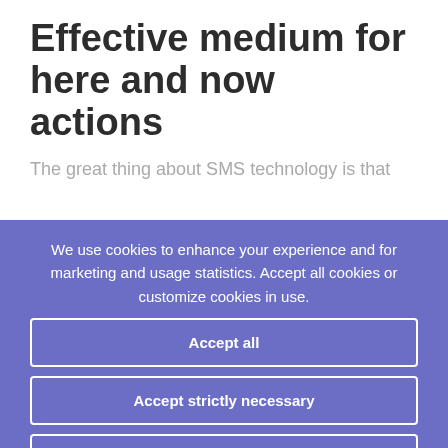Effective medium for here and now actions
The great thing about SMS technology is that
We use cookies to enhance your experience and for marketing and usage statistics. Accept all cookies or customize cookies in use.
Accept all
Accept strictly necessary
Customize cookies